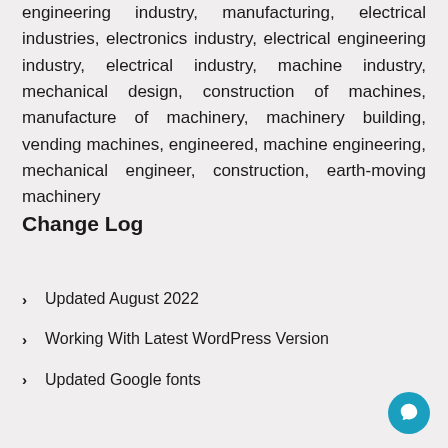engineering industry, manufacturing, electrical industries, electronics industry, electrical engineering industry, electrical industry, machine industry, mechanical design, construction of machines, manufacture of machinery, machinery building, vending machines, engineered, machine engineering, mechanical engineer, construction, earth-moving machinery
Change Log
Updated August 2022
Working With Latest WordPress Version
Updated Google fonts